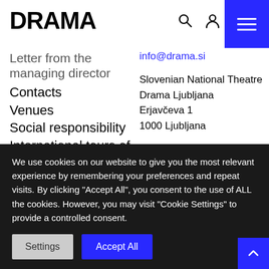DRAMA
Letter from the managing director
Contacts
Venues
Social responsibility
International tours of the SNT Drama Ljubljana
info@drama.si
Slovenian National Theatre
Drama Ljubljana
Erjavčeva 1
1000 Ljubljana
How to reach us
Map
We use cookies on our website to give you the most relevant experience by remembering your preferences and repeat visits. By clicking "Accept All", you consent to the use of ALL the cookies. However, you may visit "Cookie Settings" to provide a controlled consent.